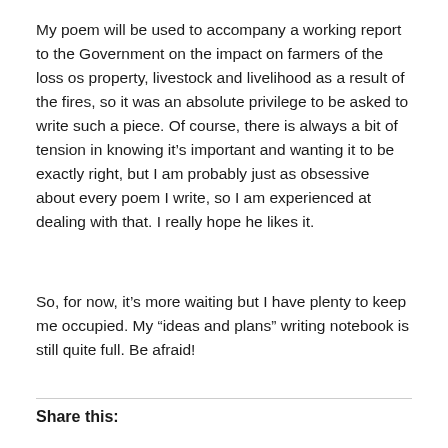My poem will be used to accompany a working report to the Government on the impact on farmers of the loss os property, livestock and livelihood as a result of the fires, so it was an absolute privilege to be asked to write such a piece. Of course, there is always a bit of tension in knowing it's important and wanting it to be exactly right, but I am probably just as obsessive about every poem I write, so I am experienced at dealing with that. I really hope he likes it.
So, for now, it's more waiting but I have plenty to keep me occupied. My “ideas and plans” writing notebook is still quite full. Be afraid!
Share this: